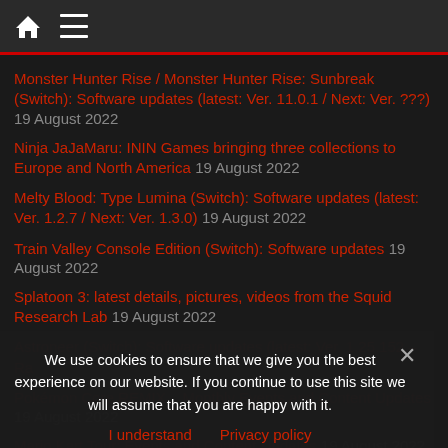Navigation bar with home and menu icons
Monster Hunter Rise / Monster Hunter Rise: Sunbreak (Switch): Software updates (latest: Ver. 11.0.1 / Next: Ver. ???) 19 August 2022
Ninja JaJaMaru: ININ Games bringing three collections to Europe and North America 19 August 2022
Melty Blood: Type Lumina (Switch): Software updates (latest: Ver. 1.2.7 / Next: Ver. 1.3.0) 19 August 2022
Train Valley Console Edition (Switch): Software updates 19 August 2022
Splatoon 3: latest details, pictures, videos from the Squid Research Lab 19 August 2022
Astroneer (Switch): Software updates (latest: Ver. 1.25.152 – Ra... [obscured by overlay]
Pokemon Core REMIX... Monthly Events and Content Updates 19 August 2022
Mario Kart Tour: Events and Content Updates 19 August 2022
We use cookies to ensure that we give you the best experience on our website. If you continue to use this site we will assume that you are happy with it.
I understand   Privacy policy